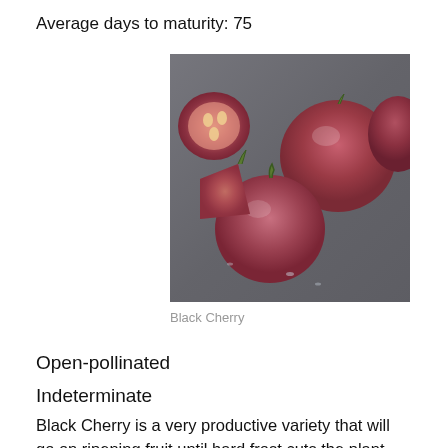Average days to maturity: 75
[Figure (photo): Photo of Black Cherry tomatoes on a dark slate surface, showing whole and cut tomatoes revealing seeds and flesh]
Black Cherry
Open-pollinated
Indeterminate
Black Cherry is a very productive variety that will go on ripening fruit until hard frost cuts the plant down. Its fruits